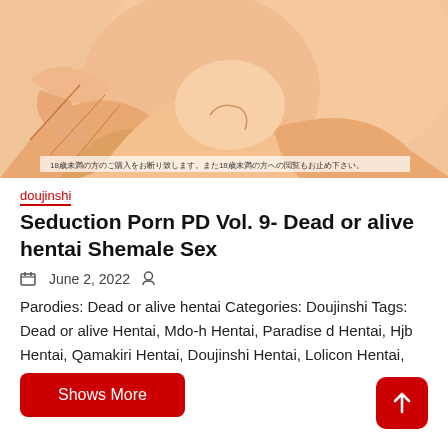[Figure (illustration): Anime/manga style illustration showing a cropped figure with light skin tones and partial Japanese text at the bottom of the image]
doujinshi
Seduction Porn PD Vol. 9- Dead or alive hentai Shemale Sex
June 2, 2022
Parodies: Dead or alive hentai Categories: Doujinshi Tags: Dead or alive Hentai, Mdo-h Hentai, Paradise d Hentai, Hjb Hentai, Qamakiri Hentai, Doujinshi Hentai, Lolicon Hentai,
Shows More